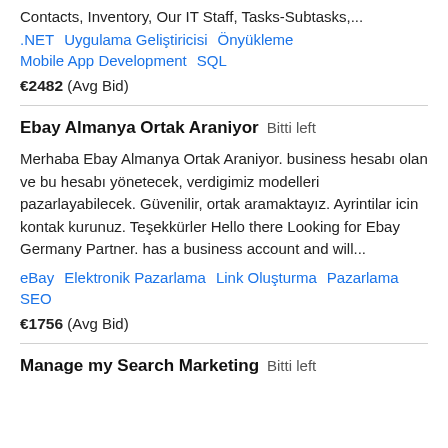Contacts, Inventory, Our IT Staff, Tasks-Subtasks,...
.NET   Uygulama Geliştiricisi   Önyükleme   Mobile App Development   SQL
€2482   (Avg Bid)
Ebay Almanya Ortak Araniyor   Bitti left
Merhaba Ebay Almanya Ortak Araniyor. business hesabı olan ve bu hesabı yönetecek, verdigimiz modelleri pazarlayabilecek. Güvenilir, ortak aramaktayız. Ayrintilar icin kontak kurunuz. Teşekkürler Hello there Looking for Ebay Germany Partner. has a business account and will...
eBay   Elektronik Pazarlama   Link Oluşturma   Pazarlama   SEO
€1756   (Avg Bid)
Manage my Search Marketing   Bitti left